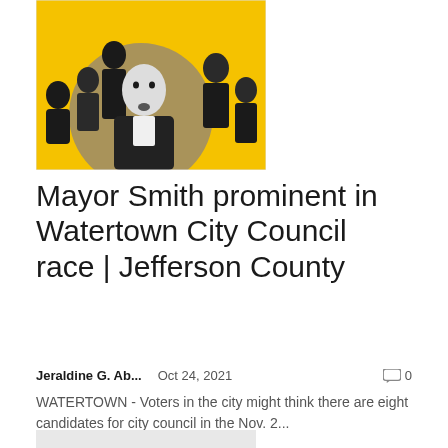[Figure (photo): Group photo illustration with yellow background showing multiple people in black and white, with a beige/tan circle behind the central figure (a young man in a suit). Several other individuals are visible in the background.]
Mayor Smith prominent in Watertown City Council race | Jefferson County
Jeraldine G. Ab...   Oct 24, 2021   0
WATERTOWN - Voters in the city might think there are eight candidates for city council in the Nov. 2...
[Figure (photo): Partially visible light gray placeholder image at bottom of page.]